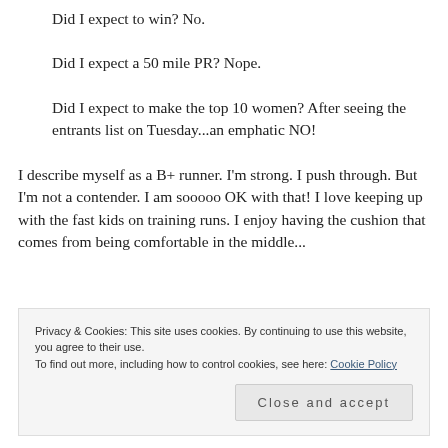Did I expect to win? No.
Did I expect a 50 mile PR? Nope.
Did I expect to make the top 10 women?  After seeing the entrants list on Tuesday...an emphatic NO!
I describe myself as a B+ runner.  I'm strong.  I push through.  But I'm not a contender.  I am sooooo OK with that!  I love keeping up with the fast kids on training runs.  I enjoy having the cushion that comes from being comfortable in the middle...
Privacy & Cookies: This site uses cookies. By continuing to use this website, you agree to their use.
To find out more, including how to control cookies, see here: Cookie Policy
Close and accept